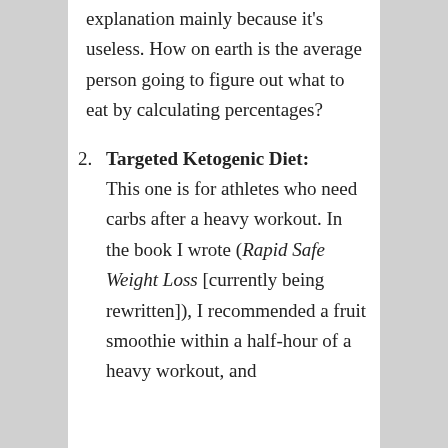explanation mainly because it's useless. How on earth is the average person going to figure out what to eat by calculating percentages?
2. Targeted Ketogenic Diet: This one is for athletes who need carbs after a heavy workout. In the book I wrote (Rapid Safe Weight Loss [currently being rewritten]), I recommended a fruit smoothie within a half-hour of a heavy workout, and